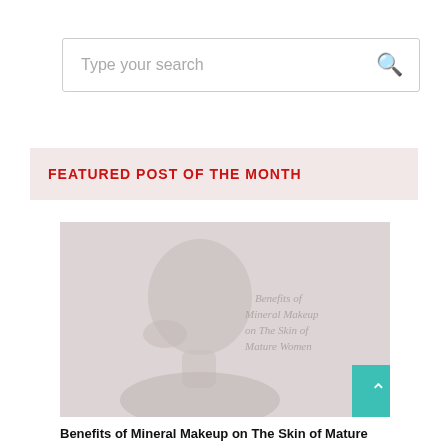Type your search
FEATURED POST OF THE MONTH
[Figure (photo): Faded photo of a mature woman applying or touching her face, with overlaid text reading 'Benefits of Mineral Makeup on The Skin of Mature Women']
Benefits of Mineral Makeup on The Skin of Mature